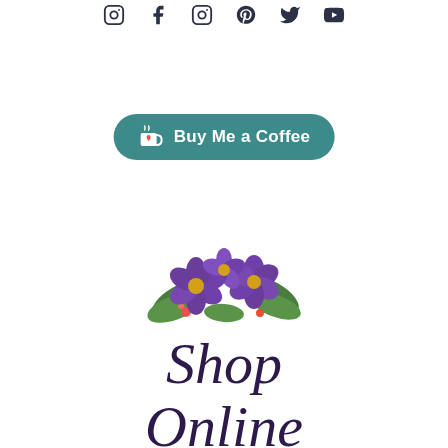[Figure (infographic): Row of six social media icons (Instagram, Facebook, Instagram variant, Pinterest, Twitter, YouTube) displayed in dark navy color at the top of the page]
[Figure (infographic): A teal/green rounded pill-shaped button with a white coffee cup icon with a red heart, and the text 'Buy Me a Coffee' in white]
[Figure (illustration): A decorative flower illustration showing purple/violet flowers with yellow centers, green leaves, and small red/orange accent flowers]
Shop Online